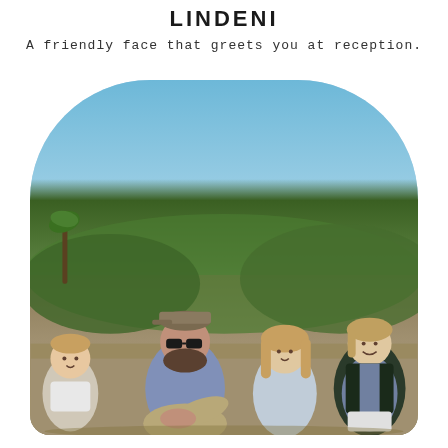LINDENI
A friendly face that greets you at reception.
[Figure (photo): A family of four — a young boy, a bearded man wearing sunglasses and a cap, a girl, and a woman — sitting together outdoors on a hillside with bushes and a clear blue sky in the background. The photo is displayed in a rounded rectangle container with a more prominent top radius.]